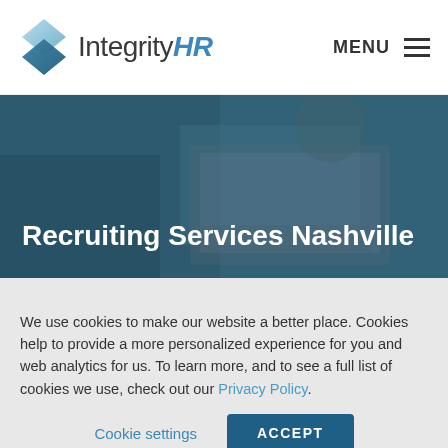[Figure (logo): IntegrityHR logo with teal diamond shape and text 'Integrity' in dark gray and 'HR' in blue italic]
MENU
[Figure (photo): Hero banner photo of people working on a laptop in business attire with dark overlay, showing text 'Recruiting Services Nashville']
Recruiting Services Nashville
We use cookies to make our website a better place. Cookies help to provide a more personalized experience for you and web analytics for us. To learn more, and to see a full list of cookies we use, check out our Privacy Policy.
Cookie settings   ACCEPT